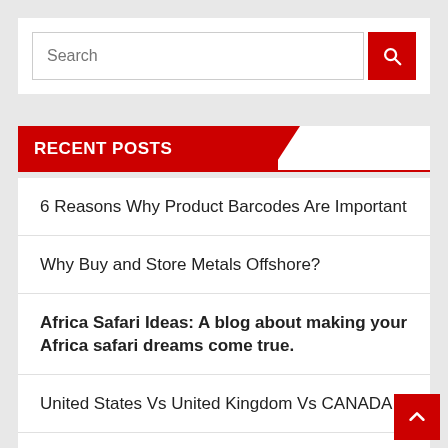[Figure (screenshot): Search input box with red search button on right]
RECENT POSTS
6 Reasons Why Product Barcodes Are Important
Why Buy and Store Metals Offshore?
Africa Safari Ideas: A blog about making your Africa safari dreams come true.
United States Vs United Kingdom Vs CANADA
CNC Machine Tools – A Closer Look at Many Facts